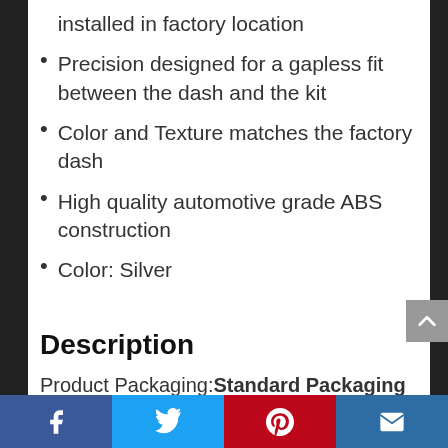installed in factory location
Precision designed for a gapless fit between the dash and the kit
Color and Texture matches the factory dash
High quality automotive grade ABS construction
Color: Silver
Description
Product Packaging:Standard Packaging